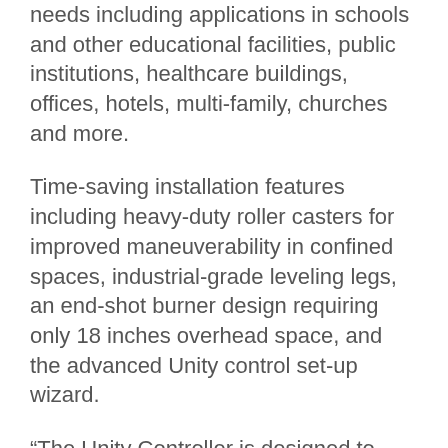needs including applications in schools and other educational facilities, public institutions, healthcare buildings, offices, hotels, multi-family, churches and more.
Time-saving installation features including heavy-duty roller casters for improved maneuverability in confined spaces, industrial-grade leveling legs, an end-shot burner design requiring only 18 inches overhead space, and the advanced Unity control set-up wizard.
“The Unity Controller is designed to reduce installation and set-up time for contractors, simplify boiler system design for specifying engineers, and improve control interface commonality and communication across the entire Weil-McLain high efficiency boiler line.” said Miller